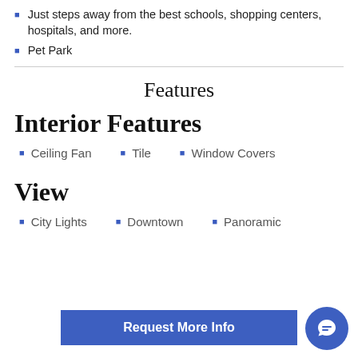Just steps away from the best schools, shopping centers, hospitals, and more.
Pet Park
Features
Interior Features
Ceiling Fan
Tile
Window Covers
View
City Lights
Downtown
Panoramic
Request More Info